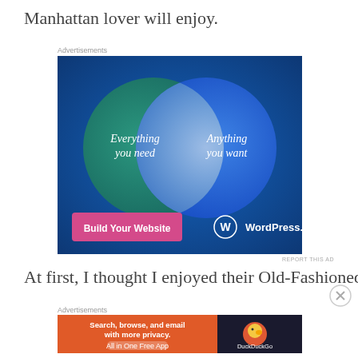Manhattan lover will enjoy.
Advertisements
[Figure (infographic): WordPress.com advertisement with Venn diagram showing two overlapping circles on a dark blue background. Left teal circle: 'Everything you need'. Right blue circle: 'Anything you want'. Pink button 'Build Your Website' and WordPress.com logo at bottom.]
REPORT THIS AD
At first, I thought I enjoyed their Old-Fashioned ready-
Advertisements
[Figure (infographic): DuckDuckGo advertisement. Orange/red background on left with text 'Search, browse, and email with more privacy. All in One Free App'. Dark background on right with DuckDuckGo duck logo.]